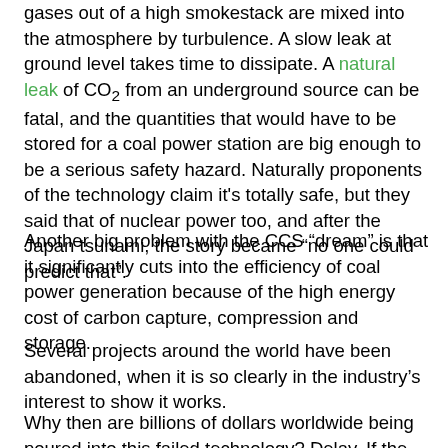gases out of a high smokestack are mixed into the atmosphere by turbulence. A slow leak at ground level takes time to dissipate. A natural leak of CO₂ from an underground source can be fatal, and the quantities that would have to be stored for a coal power station are big enough to be a serious safety hazard. Naturally proponents of the technology claim it's totally safe, but they said that of nuclear power too, and after the Japan tsunami, the story became “no one could predict that”.
Another big problem with the CCS “dream” is that it significantly cuts into the efficiency of coal power generation because of the high energy cost of carbon capture, compression and storage.
Several projects around the world have been abandoned, when it is so clearly in the industry’s interest to show it works.
Why then are billions of dollars worldwide being poured into this failed technology? Delay. If the promise of “clean coal” can be held out as an alternative, investment in alternatives can be stalled. Who wins? Only the fossil fuel industry. And